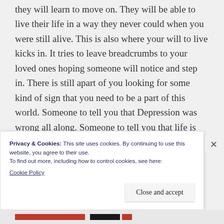they will learn to move on. They will be able to live their life in a way they never could when you were still alive. This is also where your will to live kicks in. It tries to leave breadcrumbs to your loved ones hoping someone will notice and step in. There is still apart of you looking for some kind of sign that you need to be a part of this world. Someone to tell you that Depression was wrong all along. Someone to tell you that life is worth living. Someone to tell you that you matter. Someone to tell you that no matter
Privacy & Cookies: This site uses cookies. By continuing to use this website, you agree to their use.
To find out more, including how to control cookies, see here:
Cookie Policy
Close and accept